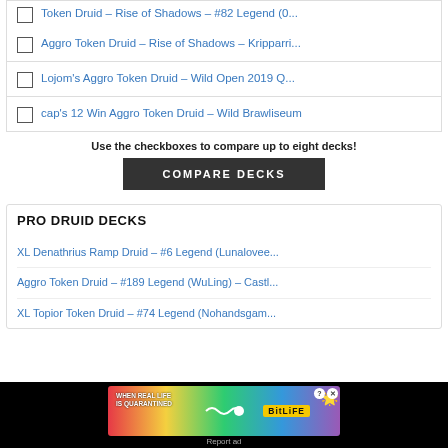Token Druid – Rise of Shadows – #82 Legend (0...
Aggro Token Druid – Rise of Shadows – Kripparri...
Lojom's Aggro Token Druid – Wild Open 2019 Q...
cap's 12 Win Aggro Token Druid – Wild Brawliseum
Use the checkboxes to compare up to eight decks!
PRO DRUID DECKS
XL Denathrius Ramp Druid – #6 Legend (Lunalovee...
Aggro Token Druid – #189 Legend (WuLing) – Castl...
XL Topior Token Druid – #74 Legend (Nohandsgam...
[Figure (screenshot): BitLife advertisement banner: 'WHEN REAL LIFE IS QUARANTINED' with BitLife logo and emoji, close button and help icon visible]
Report ad